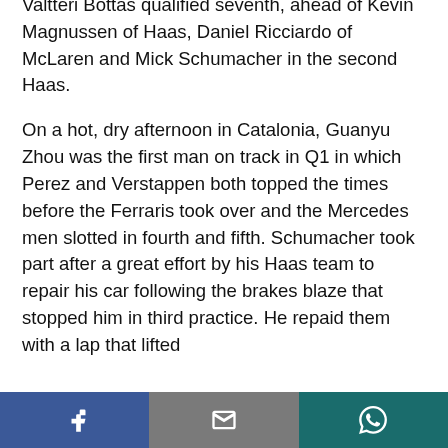Valtteri Bottas qualified seventh, ahead of Kevin Magnussen of Haas, Daniel Ricciardo of McLaren and Mick Schumacher in the second Haas.
On a hot, dry afternoon in Catalonia, Guanyu Zhou was the first man on track in Q1 in which Perez and Verstappen both topped the times before the Ferraris took over and the Mercedes men slotted in fourth and fifth. Schumacher took part after a great effort by his Haas team to repair his car following the brakes blaze that stopped him in third practice. He repaid them with a lap that lifted
Facebook | Email | WhatsApp